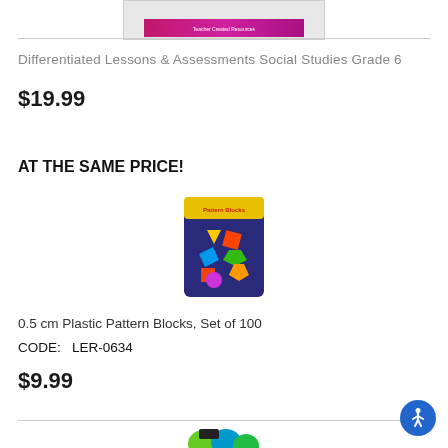[Figure (photo): Top portion of a book product image with pink/magenta banner reading 'Teacher Created Resources']
Differentiated Lessons & Assessments Social Studies Grade 6
$19.99
AT THE SAME PRICE!
[Figure (photo): Package of 0.5 cm Plastic Pattern Blocks, Set of 100, showing colorful plastic shapes]
0.5 cm Plastic Pattern Blocks, Set of 100
CODE:   LER-0634
$9.99
[Figure (photo): Partial product image at the bottom of the page showing green and blue items]
[Figure (logo): Accessibility/wheelchair icon in blue circle button]